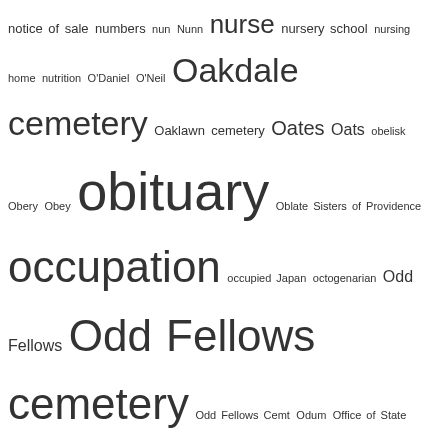[Figure (other): Word cloud or tag index from a genealogy/history reference, showing terms from 'notice of sale' through 'paternity' in varying font sizes indicating frequency or importance.]